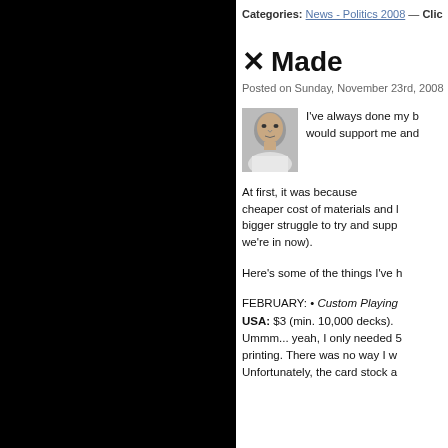Categories: News - Politics 2008 — Click
✕ Made
Posted on Sunday, November 23rd, 2008
[Figure (photo): Black and white headshot photo of a young man]
I've always done my b... would support me and...
At first, it was because cheaper cost of materials and l... bigger struggle to try and supp... we're in now).
Here's some of the things I've h...
FEBRUARY: • Custom Playing... USA: $3 (min. 10,000 decks). Ummm... yeah, I only needed 5... printing. There was no way I w... Unfortunately, the card stock a...